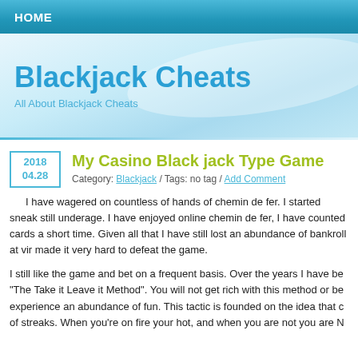HOME
Blackjack Cheats
All About Blackjack Cheats
My Casino Black jack Type Game
Category: Blackjack / Tags: no tag / Add Comment
I have wagered on countless of hands of chemin de fer. I started sneak still underage. I have enjoyed online chemin de fer, I have counted cards a short time. Given all that I have still lost an abundance of bankroll at vir made it very hard to defeat the game.
I still like the game and bet on a frequent basis. Over the years I have be "The Take it Leave it Method". You will not get rich with this method or be experience an abundance of fun. This tactic is founded on the idea that c of streaks. When you're on fire your hot, and when you are not you are N